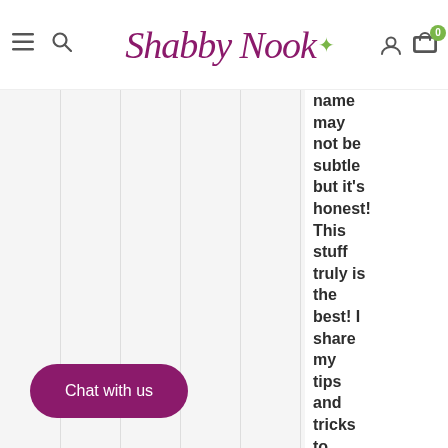Shabby Nook — navigation header with menu, search, account, and cart (0 items)
[Figure (screenshot): Large blank/light gray image area on left side of page]
subtle but it's honest! This stuff truly is the best! I share my tips and tricks to getting the very best
Chat with us